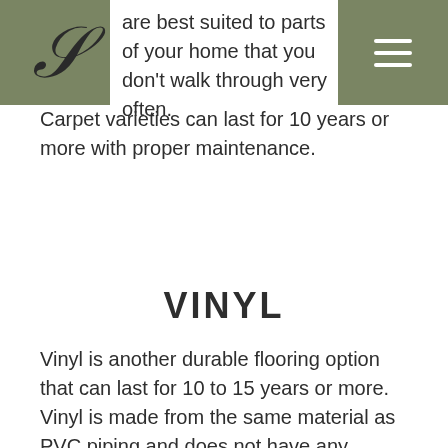S [logo]
are best suited to parts of your home that you don't walk through very often. Carpet varieties can last for 10 years or more with proper maintenance.
VINYL
Vinyl is another durable flooring option that can last for 10 to 15 years or more. Vinyl is made from the same material as PVC piping and does not have any natural